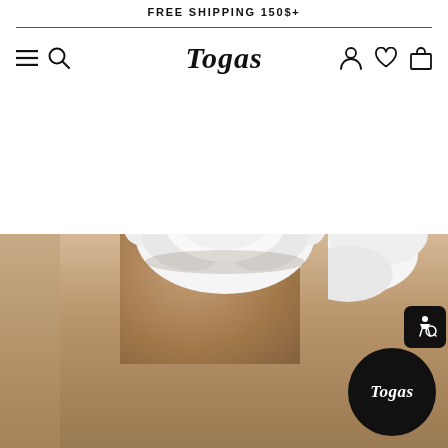FREE SHIPPING 150$+
[Figure (logo): Togas brand logo in stylized serif italic font with navigation icons (hamburger menu, search, user, heart, bag)]
[Figure (photo): White flower-shaped ceramic bowl placed on a wooden block/tray, with another white ceramic piece partially visible on the right. Bottom half of image shows close-up of wooden surface. Togas logo badge in black circle at bottom right. Accessibility icon badge at lower right.]